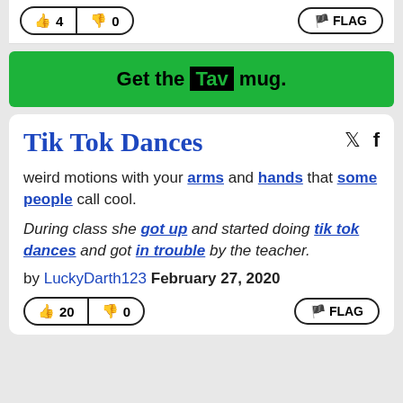[Figure (screenshot): Top vote buttons showing thumbs up 4 and thumbs down 0, with FLAG button on right]
Get the Tav mug.
Tik Tok Dances
weird motions with your arms and hands that some people call cool.
During class she got up and started doing tik tok dances and got in trouble by the teacher.
by LuckyDarth123 February 27, 2020
[Figure (screenshot): Bottom vote buttons showing thumbs up 20 and thumbs down 0, with FLAG button on right]